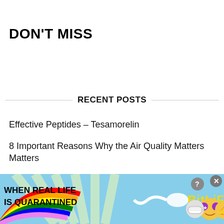DON'T MISS
RECENT POSTS
Effective Peptides – Tesamorelin
8 Important Reasons Why the Air Quality Matters Matters
7 Easy Ways to Make Your House a Stress-Free Environment
6 Beginner's Tips for Keeping Everyone Safe on a Camping Trip
Joclyn Van Orden Discusses Myofascial Treatment and Injury Prevention
[Figure (screenshot): Advertisement banner for BitLife game showing rainbow graphic, text 'WHEN REAL LIFE IS QUARANTINED' and BitLife logo with emoji characters]